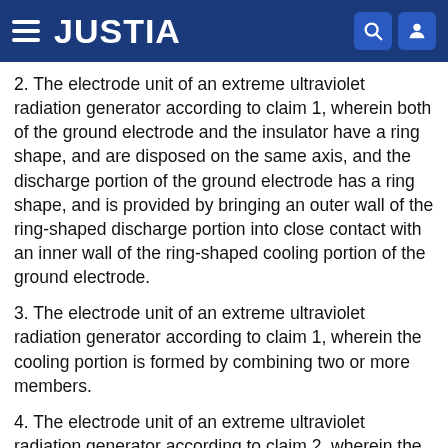JUSTIA
2. The electrode unit of an extreme ultraviolet radiation generator according to claim 1, wherein both of the ground electrode and the insulator have a ring shape, and are disposed on the same axis, and the discharge portion of the ground electrode has a ring shape, and is provided by bringing an outer wall of the ring-shaped discharge portion into close contact with an inner wall of the ring-shaped cooling portion of the ground electrode.
3. The electrode unit of an extreme ultraviolet radiation generator according to claim 1, wherein the cooling portion is formed by combining two or more members.
4. The electrode unit of an extreme ultraviolet radiation generator according to claim 2, wherein the cooling portion is formed by combining two or more members.
5. The electrode unit according to claim 1, wherein the